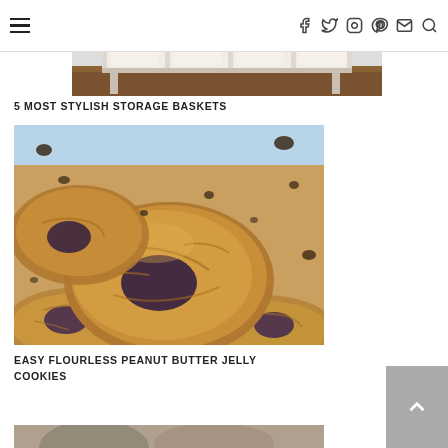Navigation header with hamburger menu and social icons: facebook, twitter, instagram, pinterest, email, search
[Figure (photo): Partial photo of white storage baskets on shelving, cropped at top of page]
5 MOST STYLISH STORAGE BASKETS
[Figure (photo): Close-up photo of flourless peanut butter jelly cookies stacked together, golden brown with jelly filling visible]
EASY FLOURLESS PEANUT BUTTER JELLY COOKIES
[Figure (photo): Partial photo at bottom of page, cropped]